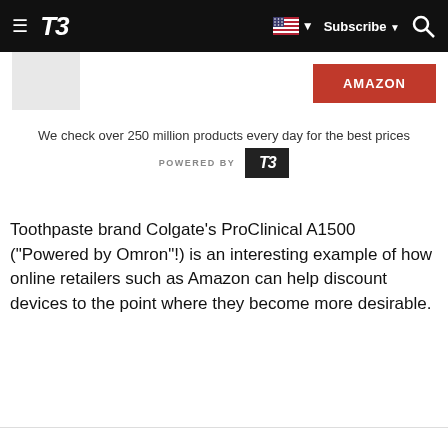T3 — Subscribe
[Figure (screenshot): Placeholder product image thumbnail on left, red Amazon button on right]
We check over 250 million products every day for the best prices
[Figure (logo): POWERED BY T3 logo badge]
Toothpaste brand Colgate's ProClinical A1500 ("Powered by Omron"!) is an interesting example of how online retailers such as Amazon can help discount devices to the point where they become more desirable.